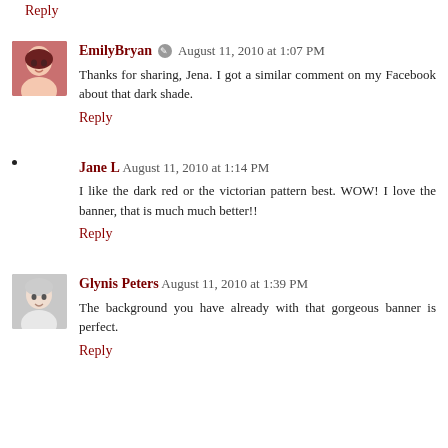Reply
EmilyBryan • August 11, 2010 at 1:07 PM
Thanks for sharing, Jena. I got a similar comment on my Facebook about that dark shade.
Reply
Jane L  August 11, 2010 at 1:14 PM
I like the dark red or the victorian pattern best. WOW! I love the banner, that is much much better!!
Reply
Glynis Peters  August 11, 2010 at 1:39 PM
The background you have already with that gorgeous banner is perfect.
Reply